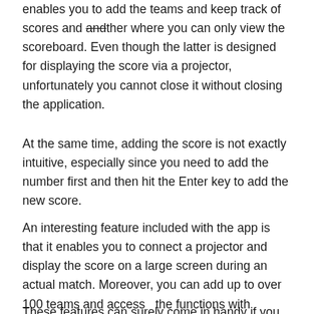enables you to add the teams and keep track of scores and another where you can only view the scoreboard. Even though the latter is designed for displaying the score via a projector, unfortunately you cannot close it without closing the application.
At the same time, adding the score is not exactly intuitive, especially since you need to add the number first and then hit the Enter key to add the new score.
An interesting feature included with the app is that it enables you to connect a projector and display the score on a large screen during an actual match. Moreover, you can add up to over 100 teams and access   the functions with dedicated hotkeys, an option that is nice to have, especially when you are also trying to view the match.
These features can surely come in handy if you regularly